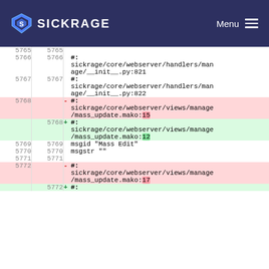SICKRAGE  Menu
| old | new | sign | code |
| --- | --- | --- | --- |
| 5765 | 5765 |  |  |
| 5766 | 5766 |  | #: sickrage/core/webserver/handlers/manage/__init__.py:821 |
| 5767 | 5767 |  | #: sickrage/core/webserver/handlers/manage/__init__.py:822 |
| 5768 |  | - | #: sickrage/core/webserver/views/manage/mass_update.mako:15 |
|  | 5768 | + | #: sickrage/core/webserver/views/manage/mass_update.mako:12 |
| 5769 | 5769 |  | msgid "Mass Edit" |
| 5770 | 5770 |  | msgstr "" |
| 5771 | 5771 |  |  |
| 5772 |  | - | #: sickrage/core/webserver/views/manage/mass_update.mako:17 |
|  | 5772 | + | #: |